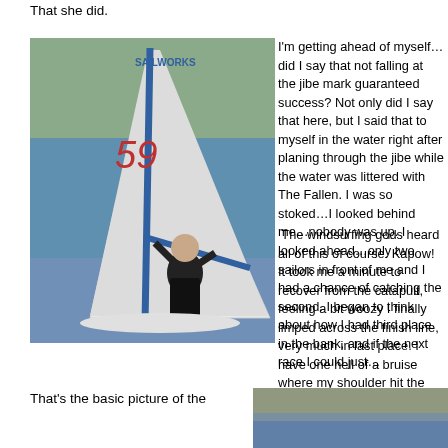That she did.
[Figure (photo): A windsurfer on the water, wearing a black wetsuit, holding onto the sail boom of a windsurfer with a large white sail marked with the number 59. The sail has a blue mast. The background shows water and trees.]
I'm getting ahead of myself…did I say that not falling at the jibe mark guaranteed success?  Not only did I say that here, but I said that to myself in the water right after planing through the jibe while the water was littered with The Fallen.  I was so stoked…I looked behind me…nobody was up.  I looked ahead…only two sailors in front of me and I had a chance of catching the second.   I began to think about how I had third place in the bank, and if the next race I could just…
The windsurfing gods heard all of this of course.   Kapow!   It took me a minute to recover from the catapult, feeling a bit woozy I finally limped across the finish line, very much in last place.   I have one hell of a bruise where my shoulder hit the boom.
That's the basic picture of the
[Figure (photo): A partial view of what appears to be a body of water with some shoreline or landscape in the background, shown at the bottom right of the page.]